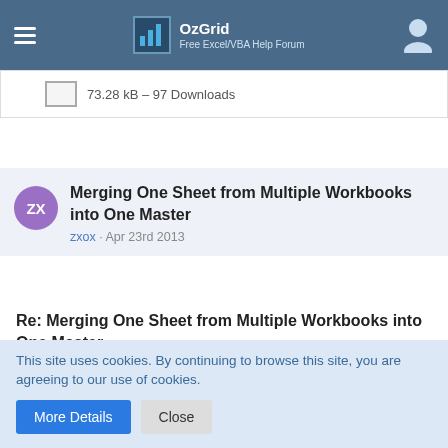OzGrid — Free Excel/VBA Help Forum
73.28 kB – 97 Downloads
Merging One Sheet from Multiple Workbooks into One Master
zxox · Apr 23rd 2013
Re: Merging One Sheet from Multiple Workbooks into One Master
Thank you, but since I'm on a network at work I can not get these to work. The error I receive is something to do with hidden folders and not being able to execute the commands. 😐 UGH! SO FRUSTRATED! I can NOT unhide
This site uses cookies. By continuing to browse this site, you are agreeing to our use of cookies.